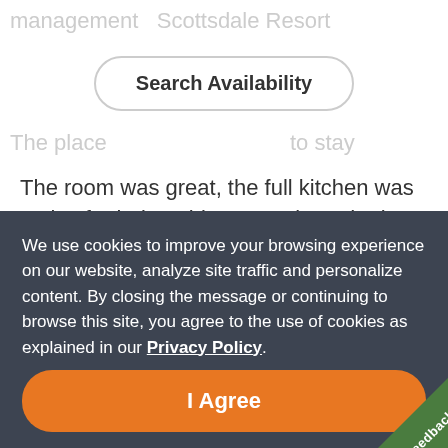management   Scottsdale Resort
Search Availability
The room was great, the full kitchen was a plus for being able to stay in and relax. The only issue I had was a light fixture fell off of the ceiling fan of the room where my toddler grandson was sleeping. I under stand this was an accident, no one was hurt and the staff was pleasant and thorough when they arrived to clean it up at 11pm. My reason for the low
We use cookies to improve your browsing experience on our website, analyze site traffic and personalize content. By closing the message or continuing to browse this site, you agree to the use of cookies as explained in our Privacy Policy.
I Agree